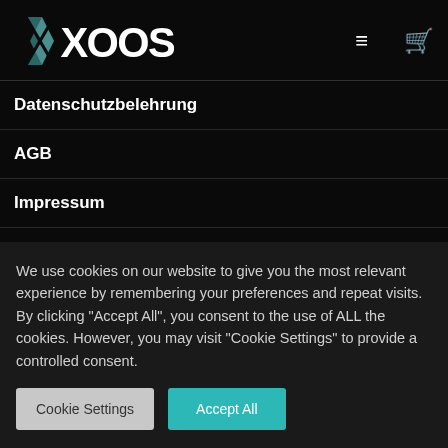[Figure (logo): XOOSE logo in white bold letters with teal/grey X mark on left, hamburger menu icon and cart icon on right]
Datenschutzbelehrung
AGB
Impressum
VERSANDKOSTEN & INFOS
We use cookies on our website to give you the most relevant experience by remembering your preferences and repeat visits. By clicking "Accept All", you consent to the use of ALL the cookies. However, you may visit "Cookie Settings" to provide a controlled consent.